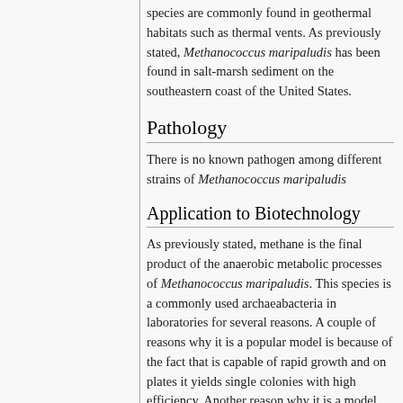species are commonly found in geothermal habitats such as thermal vents. As previously stated, Methanococcus maripaludis has been found in salt-marsh sediment on the southeastern coast of the United States.
Pathology
There is no known pathogen among different strains of Methanococcus maripaludis
Application to Biotechnology
As previously stated, methane is the final product of the anaerobic metabolic processes of Methanococcus maripaludis. This species is a commonly used archaeabacteria in laboratories for several reasons. A couple of reasons why it is a popular model is because of the fact that is capable of rapid growth and on plates it yields single colonies with high efficiency. Another reason why it is a model organism to study is because it has a relatively simple genome. Furthermore, this species has